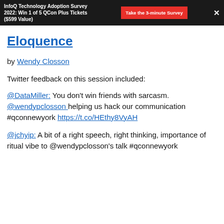InfoQ Technology Adoption Survey 2022: Win 1 of 5 QCon Plus Tickets ($599 Value) | Take the 3-minute Survey
Eloquence
by Wendy Closson
Twitter feedback on this session included:
@DataMiller: You don't win friends with sarcasm. @wendypclosson helping us hack our communication #qconnewyork https://t.co/HEthy8VyAH
@jchyip: A bit of a right speech, right thinking, importance of ritual vibe to @wendypclosson's talk #qconnewyork